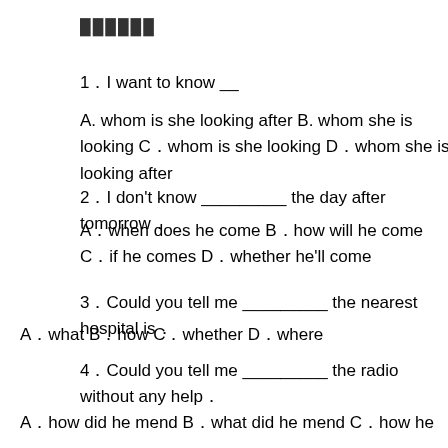██████
1．I want to know __
A. whom is she looking after B. whom she is looking C．whom is she looking D．whom she is looking after
2．I don't know _________ the day after tomorrow．
A．when does he come B．how will he come C．if he comes D．whether he'll come
3．Could you tell me _________ the nearest hospital is．
A．what B．how C．whether D．where
4．Could you tell me _________ the radio without any help．
A．how did he mend B．what did he mend C．how he